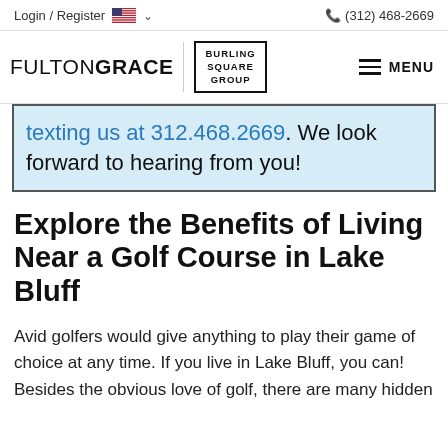Login / Register  (312) 468-2669
[Figure (logo): FultonGrace logo with Burling Square Group sub-brand box and MENU hamburger icon]
texting us at 312.468.2669. We look forward to hearing from you!
Explore the Benefits of Living Near a Golf Course in Lake Bluff
Avid golfers would give anything to play their game of choice at any time. If you live in Lake Bluff, you can! Besides the obvious love of golf, there are many hidden